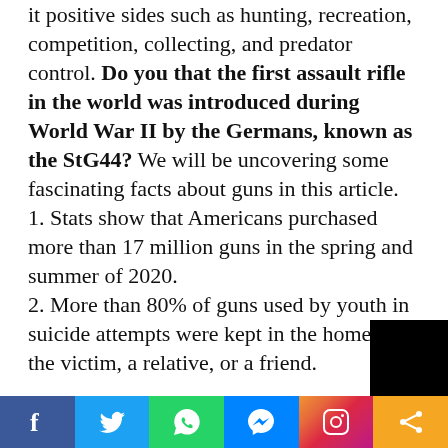it positive sides such as hunting, recreation, competition, collecting, and predator control. Do you that the first assault rifle in the world was introduced during World War II by the Germans, known as the StG44? We will be uncovering some fascinating facts about guns in this article.
1. Stats show that Americans purchased more than 17 million guns in the spring and summer of 2020.
2. More than 80% of guns used by youth in suicide attempts were kept in the home of the victim, a relative, or a friend.
[Figure (other): Social media share bar with Facebook, Twitter, WhatsApp, Messenger, Instagram, and share icons]